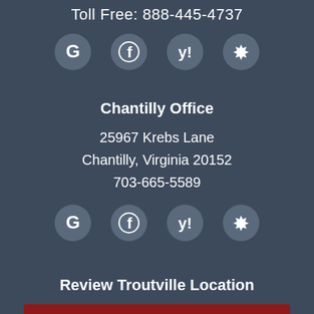Toll Free: 888-445-4737
[Figure (infographic): Row of four social media icons: Google (G), Facebook (f), Yahoo (y!), Yelp (burst star)]
Chantilly Office
25967 Krebs Lane
Chantilly, Virginia 20152
703-665-5589
[Figure (infographic): Row of four social media icons: Google (G), Facebook (f), Yahoo (y!), Yelp (burst star)]
Review Troutville Location
Google
BBB